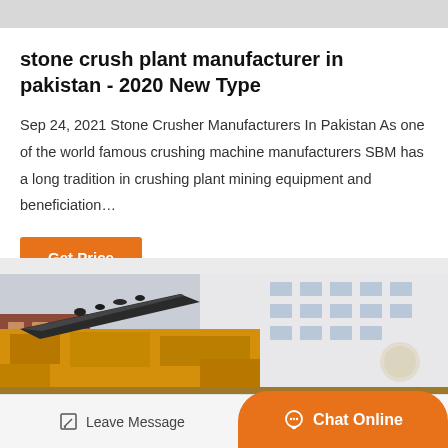stone crush plant manufacturer in pakistan - 2020 New Type
Sep 24, 2021 Stone Crusher Manufacturers In Pakistan As one of the world famous crushing machine manufacturers SBM has a long tradition in crushing plant mining equipment and beneficiation…
[Figure (photo): Industrial stone crushing plant equipment — large yellow machinery and conveyor belt in front of a white industrial building]
Leave Message   Chat Online